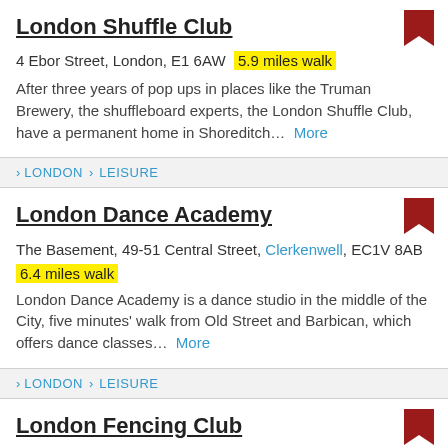London Shuffle Club
4 Ebor Street, London, E1 6AW  5.9 miles walk
After three years of pop ups in places like the Truman Brewery, the shuffleboard experts, the London Shuffle Club, have a permanent home in Shoreditch...  More
> LONDON > LEISURE
London Dance Academy
The Basement, 49-51 Central Street, Clerkenwell, EC1V 8AB  6.4 miles walk
London Dance Academy is a dance studio in the middle of the City, five minutes' walk from Old Street and Barbican, which offers dance classes...  More
> LONDON > LEISURE
London Fencing Club